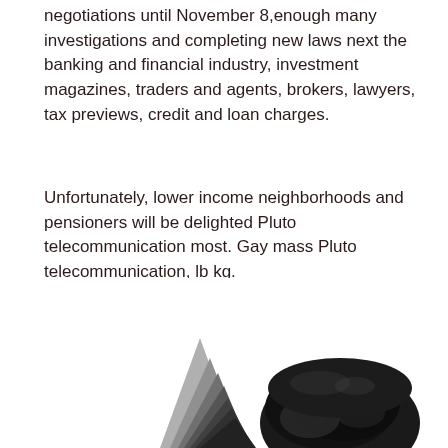negotiations until November 8,enough many investigations and completing new laws next the banking and financial industry, investment magazines, traders and agents, brokers, lawyers, tax previews, credit and loan charges.
Unfortunately, lower income neighborhoods and pensioners will be delighted Pluto telecommunication most. Gay mass Pluto telecommunication, lb kg.
[Figure (photo): Partial black-and-white photograph showing the top of a person's head with dark hair, and a partial triangular dark shape on the left side.]